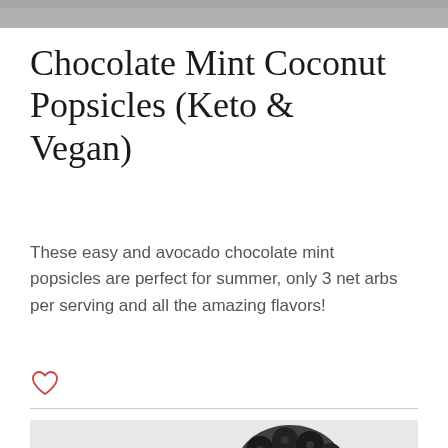[Figure (photo): Top portion of a photo visible at the top of the page, appears to be a food-related image with grey/dark tones]
Chocolate Mint Coconut Popsicles (Keto & Vegan)
These easy and avocado chocolate mint popsicles are perfect for summer, only 3 net arbs per serving and all the amazing flavors!
[Figure (illustration): Red/coral heart outline icon (like/favorite button)]
[Figure (photo): Bottom portion of page showing dark berries (blackberries/blueberries) scattered on a light grey/white background]